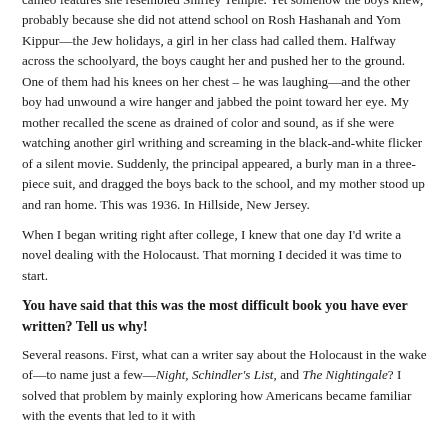cameo features she resembled Shirley Temple. Yet somehow the boys knew, probably because she did not attend school on Rosh Hashanah and Yom Kippur—the Jew holidays, a girl in her class had called them. Halfway across the schoolyard, the boys caught her and pushed her to the ground. One of them had his knees on her chest – he was laughing—and the other boy had unwound a wire hanger and jabbed the point toward her eye. My mother recalled the scene as drained of color and sound, as if she were watching another girl writhing and screaming in the black-and-white flicker of a silent movie. Suddenly, the principal appeared, a burly man in a three-piece suit, and dragged the boys back to the school, and my mother stood up and ran home. This was 1936. In Hillside, New Jersey.
When I began writing right after college, I knew that one day I'd write a novel dealing with the Holocaust. That morning I decided it was time to start.
You have said that this was the most difficult book you have ever written? Tell us why!
Several reasons. First, what can a writer say about the Holocaust in the wake of—to name just a few—Night, Schindler's List, and The Nightingale? I solved that problem by mainly exploring how Americans became familiar with the events that led to it with